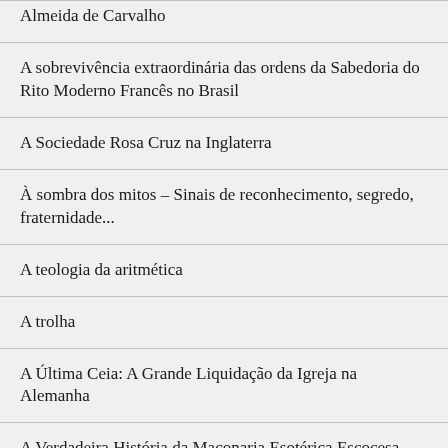Almeida de Carvalho
A sobrevivência extraordinária das ordens da Sabedoria do Rito Moderno Francês no Brasil
A Sociedade Rosa Cruz na Inglaterra
À sombra dos mitos – Sinais de reconhecimento, segredo, fraternidade...
A teologia da aritmética
A trolha
A Última Ceia: A Grande Liquidação da Igreja na Alemanha
A Verdadeira História da Maçonaria Esotérica Escocesa